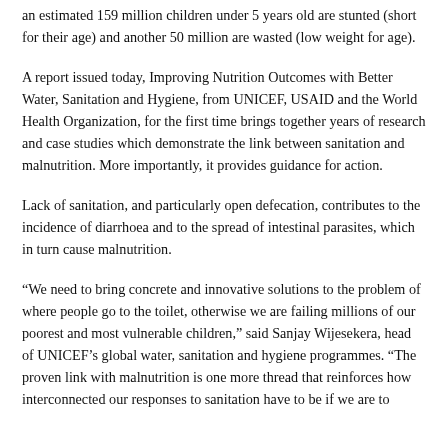an estimated 159 million children under 5 years old are stunted (short for their age) and another 50 million are wasted (low weight for age).
A report issued today, Improving Nutrition Outcomes with Better Water, Sanitation and Hygiene, from UNICEF, USAID and the World Health Organization, for the first time brings together years of research and case studies which demonstrate the link between sanitation and malnutrition. More importantly, it provides guidance for action.
Lack of sanitation, and particularly open defecation, contributes to the incidence of diarrhoea and to the spread of intestinal parasites, which in turn cause malnutrition.
“We need to bring concrete and innovative solutions to the problem of where people go to the toilet, otherwise we are failing millions of our poorest and most vulnerable children,” said Sanjay Wijesekera, head of UNICEF’s global water, sanitation and hygiene programmes. “The proven link with malnutrition is one more thread that reinforces how interconnected our responses to sanitation have to be if we are to